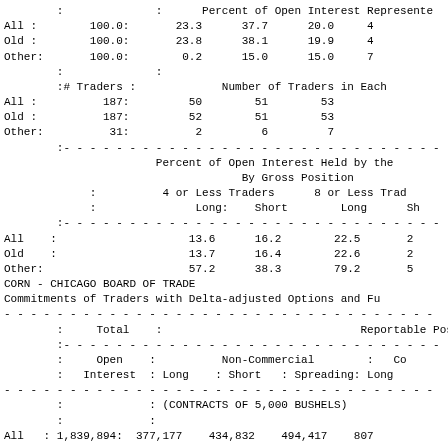|  | Total | Percent of Open Interest Represented |  |  |  |
| --- | --- | --- | --- | --- | --- |
|  | : | Percent of Open Interest Represente |
| All : | 100.0: | 23.3 | 37.7 | 20.0 | 4 |
| Old : | 100.0: | 23.8 | 38.1 | 19.9 | 4 |
| Other: | 100.0: | 0.2 | 15.0 | 15.0 | 7 |
|  | : |  |
|  | :# Traders : | Number of Traders in Each |
| All : | 187: | 50 | 51 | 53 |
| Old : | 187: | 52 | 51 | 53 |
| Other: | 31: | 2 | 6 | 7 |
|  | Percent of Open Interest Held by the | By Gross Position | 4 or Less Traders Long: | Short | 8 or Less Trad Long | Sh |
| --- | --- | --- | --- | --- | --- | --- |
| All : |  | 13.6 | 16.2 | 22.5 | 2 |
| Old : |  | 13.7 | 16.4 | 22.6 | 2 |
| Other: |  | 57.2 | 38.3 | 79.2 | 5 |
CORN - CHICAGO BOARD OF TRADE
Commitments of Traders with Delta-adjusted Options and Fu
| : Total : | Reportable Posit |
| --- | --- |
| : Open : | Non-Commercial : | Co |
| : Interest : | Long : Short : Spreading: | Long |
| : | (CONTRACTS OF 5,000 BUSHELS) |  |
| : | : |  |
| All : 1,839,894: | 377,177 | 434,832 | 494,417 | 807 |